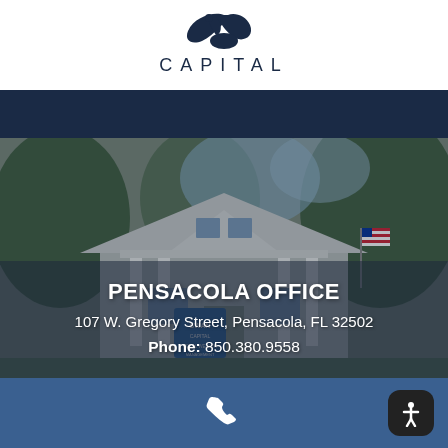[Figure (logo): Swan Capital logo with stylized swan graphic and 'CAPITAL' text in dark navy spaced letters]
[Figure (photo): Exterior photograph of Swan Capital Pensacola office — a white craftsman-style building with columns, gabled roof, trees, American flag, and Swan Capital Total Wealth Management sign in front]
PENSACOLA OFFICE
107 W. Gregory Street, Pensacola, FL 32502
Phone: 850.380.9558
[Figure (illustration): White telephone/call icon centered in blue footer bar; accessibility button icon bottom right]